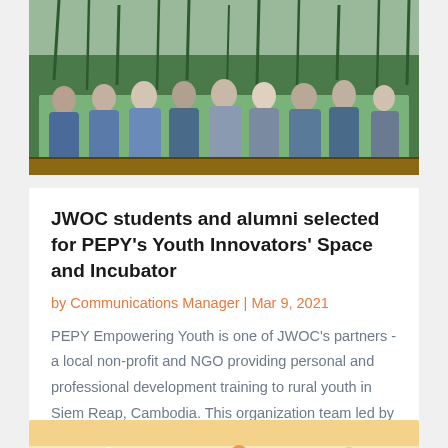[Figure (photo): Group of students and alumni seated outdoors in front of tall grass/reeds]
JWOC students and alumni selected for PEPY's Youth Innovators' Space and Incubator
by Communications Manager | Mar 9, 2021
PEPY Empowering Youth is one of JWOC's partners - a local non-profit and NGO providing personal and professional development training to rural youth in Siem Reap, Cambodia. This organization team led by local Cambodians is dedicated to helping youth identify their...
[Figure (photo): Partial view of a celebration or event with balloons and decorations]